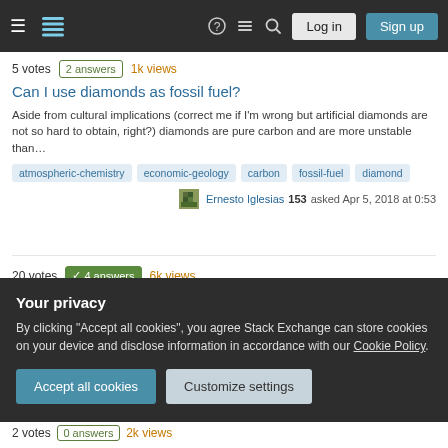Stack Exchange navigation bar with Log in and Sign up buttons
5 votes  2 answers  1k views
Can I use diamonds as fossil fuel?
Aside from cultural implications (correct me if I'm wrong but artificial diamonds are not so hard to obtain, right?) diamonds are pure carbon and are more unstable than…
atmospheric-chemistry
economic-geology
carbon
fossil-fuel
diamond
Ernesto Iglesias 153 asked Apr 5, 2018 at 0:53
20 votes  4 answers  6k views
Do fossil fuels insulate the crust from the Earth's interior?
Your privacy
By clicking "Accept all cookies", you agree Stack Exchange can store cookies on your device and disclose information in accordance with our Cookie Policy.
Accept all cookies
Customize settings
2 votes  0 answers  2k views